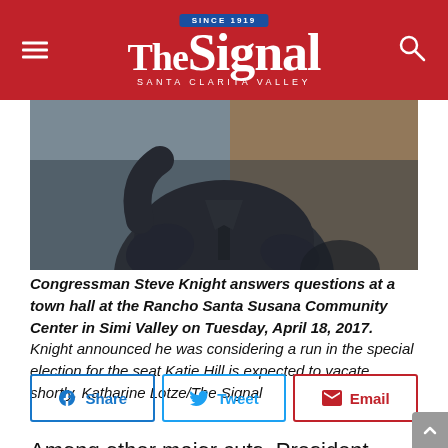The Signal — Santa Clarita Valley — Since 1919
[Figure (photo): Congressman Steve Knight at a town hall, wearing a dark suit jacket, gesturing at the Rancho Santa Susana Community Center in Simi Valley on Tuesday, April 18, 2017.]
Congressman Steve Knight answers questions at a town hall at the Rancho Santa Susana Community Center in Simi Valley on Tuesday, April 18, 2017. Knight announced he was considering a run in the special election for the seat Katie Hill is expected to vacate shortly. Katharine Lotze/The Signal
Among other major cuts, President Donald Trump's proposed federal budget would strip all funding for the Community Development Block Grant program.